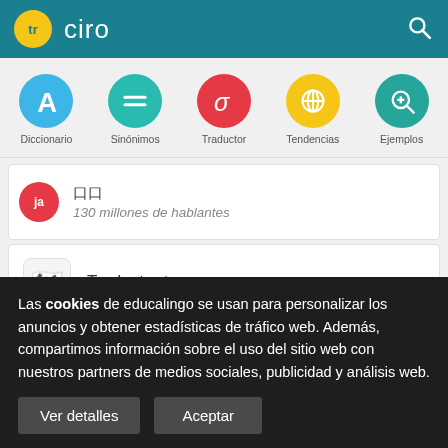tr ciro
[Figure (screenshot): Navigation bar with icons: Diccionario (blue A), Sinónimos (teal equals), Traductor (red sigma), Tendencias (yellow globe), Ejemplos (green magnifier)]
130 millones de hablantes
Traductor turco - coreano
Las cookies de educalingo se usan para personalizar los anuncios y obtener estadísticas de tráfico web. Además, compartimos información sobre el uso del sitio web con nuestros partners de medios sociales, publicidad y análisis web.
Ver detalles
Aceptar